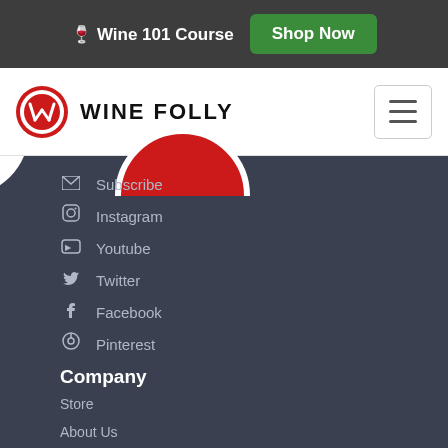🍷 Wine 101 Course  Shop Now
[Figure (logo): Wine Folly logo with hamburger menu]
Subscribe
Instagram
Youtube
Twitter
Facebook
Pinterest
Company
Store
About Us